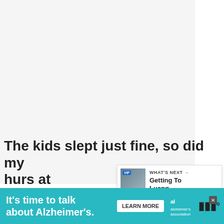[Figure (photo): Large photo area, mostly white/light background, appears to be a travel blog article image]
[Figure (infographic): Like button (teal circle with heart icon), like count '352', and share button below]
[Figure (infographic): WHAT'S NEXT panel with thumbnail image (bus/VIP), title 'Getting To Luang...']
The kids slept just fine, so did my hu...rs at
[Figure (infographic): Advertisement banner: "It's time to talk about Alzheimer's." with LEARN MORE button and Alzheimer's Association logo]